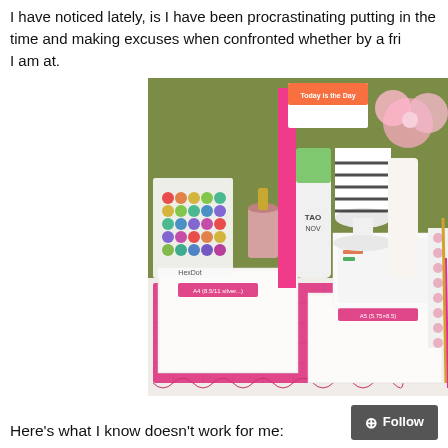I have noticed lately, is I have been procrastinating putting in the time and making excuses when confronted whether by a fri I am at.
[Figure (photo): A desk scene with pink cutting mats, white notebooks, colorful planner items, a flower vase with pink flowers, a striped mug on a stand, a Tao Now book, and various stationery items on a white surface against a green wall.]
Here's what I know doesn't work for me:
[Figure (other): Follow button with plus icon]